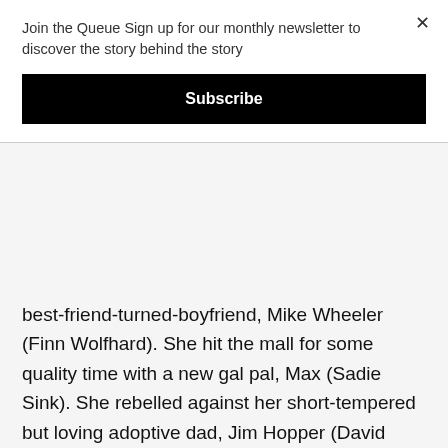Join the Queue Sign up for our monthly newsletter to discover the story behind the story
Subscribe
×
best-friend-turned-boyfriend, Mike Wheeler (Finn Wolfhard). She hit the mall for some quality time with a new gal pal, Max (Sadie Sink). She rebelled against her short-tempered but loving adoptive dad, Jim Hopper (David Harbour). And she used her expanding psychic powers to fight the interdimensional boogeyman known as the Mind Flayer. You know, normal teenage girl stuff.
Season 3 of Netflix's Stranger Things brought quite